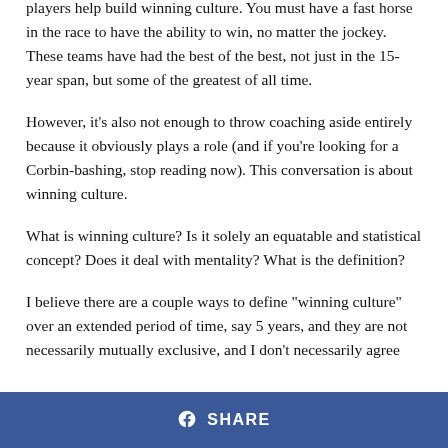players help build winning culture. You must have a fast horse in the race to have the ability to win, no matter the jockey. These teams have had the best of the best, not just in the 15-year span, but some of the greatest of all time.
However, it's also not enough to throw coaching aside entirely because it obviously plays a role (and if you're looking for a Corbin-bashing, stop reading now). This conversation is about winning culture.
What is winning culture? Is it solely an equatable and statistical concept? Does it deal with mentality? What is the definition?
I believe there are a couple ways to define "winning culture" over an extended period of time, say 5 years, and they are not necessarily mutually exclusive, and I don't necessarily agree
SHARE